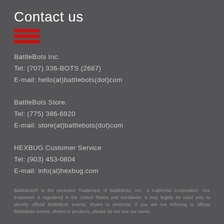Contact us
BattleBots Inc.
Tel: (707) 336-BOTS (2687)
E-mail: hello(at)battlebots(dot)com
BattleBots Store.
Tel: (775) 386-6920
E-mail: store(at)battlebots(dot)com
HEXBUG Customer Service
Tel: (903) 453-0804
E-mail: info(at)hexbug.com
BattleBots® is the exclusive Trademark of BattleBots, Inc., a California Corporation. Our trademark is registered in the United States and worldwide. It may legally be used only to identify official BattleBots events, shows or products. If you are not referring to official BattleBots events, shows or products, please do not use our name.
Privacy Policy